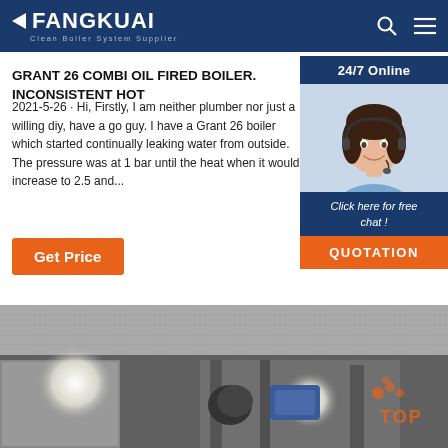FANGKUAI Clean Boiler System Supplier
GRANT 26 COMBI OIL FIRED BOILER. INCONSISTENT HOT
2021-5-26 · Hi, Firstly, I am neither plumber nor just a willing diy, have a go guy. I have a Grant 26 boiler which started continually leaking water from outside. The pressure was at 1 bar until the heat when it would increase to 2.5 and...
24/7 Online
Click here for free chat !
QUOTATION
Get Price
[Figure (photo): Industrial boiler machinery interior with bright lights and equipment]
[Figure (photo): Customer service agent woman with headset smiling, sidebar widget photo]